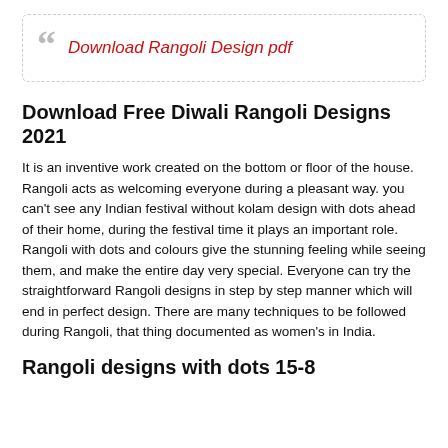Download Rangoli Design pdf
Download Free Diwali Rangoli Designs 2021
It is an inventive work created on the bottom or floor of the house. Rangoli acts as welcoming everyone during a pleasant way. you can't see any Indian festival without kolam design with dots ahead of their home, during the festival time it plays an important role. Rangoli with dots and colours give the stunning feeling while seeing them, and make the entire day very special. Everyone can try the straightforward Rangoli designs in step by step manner which will end in perfect design. There are many techniques to be followed during Rangoli, that thing documented as women's in India.
Rangoli designs with dots 15-8